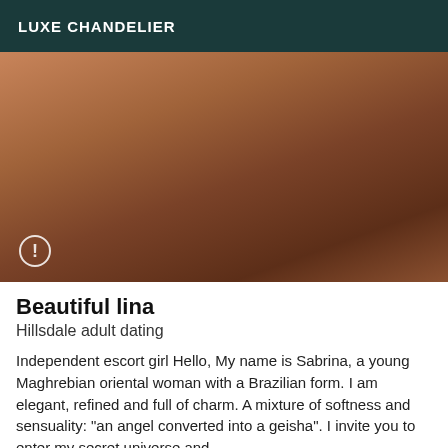LUXE CHANDELIER
[Figure (photo): Close-up photo of a person's midsection wearing a white bikini bottom, with a warning/exclamation icon overlay in the bottom left corner.]
Beautiful lina
Hillsdale adult dating
Independent escort girl Hello, My name is Sabrina, a young Maghrebian oriental woman with a Brazilian form. I am elegant, refined and full of charm. A mixture of softness and sensuality: "an angel converted into a geisha". I invite you to enter my secret universe and